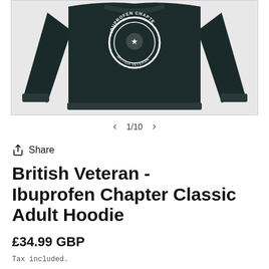[Figure (photo): Dark navy/black hoodie sweatshirt displayed flat, showing front with a circular 'Ibuprofen Chapter' logo/badge on the chest area, with both sleeves spread out]
1/10
Share
British Veteran - Ibuprofen Chapter Classic Adult Hoodie
£34.99 GBP
Tax included.